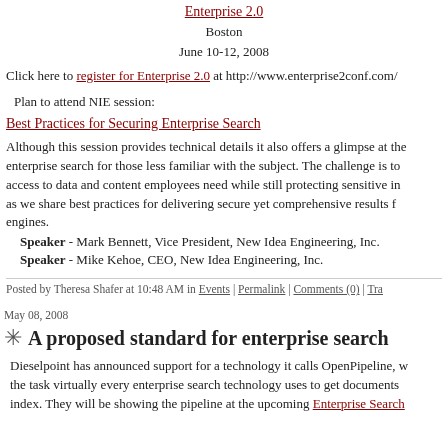Enterprise 2.0
Boston
June 10-12, 2008
Click here to register for Enterprise 2.0 at http://www.enterprise2conf.com/
Plan to attend NIE session:
Best Practices for Securing Enterprise Search
Although this session provides technical details it also offers a glimpse at the enterprise search for those less familiar with the subject. The challenge is to access to data and content employees need while still protecting sensitive in as we share best practices for delivering secure yet comprehensive results engines.
Speaker - Mark Bennett, Vice President, New Idea Engineering, Inc.
Speaker - Mike Kehoe, CEO, New Idea Engineering, Inc.
Posted by Theresa Shafer at 10:48 AM in Events | Permalink | Comments (0) | Tra...
May 08, 2008
A proposed standard for enterprise search
Dieselpoint has announced support for a technology it calls OpenPipeline, the task virtually every enterprise search technology uses to get documents index. They will be showing the pipeline at the upcoming Enterprise Search...